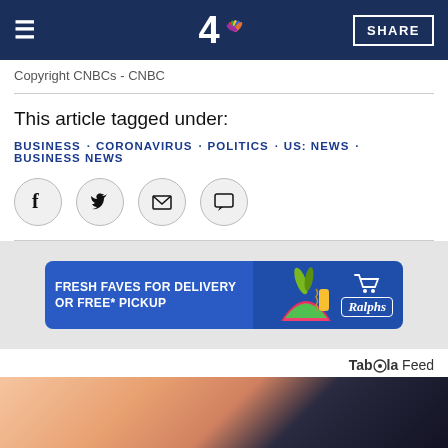NBC 4 - SHARE
Copyright CNBCs - CNBC
This article tagged under:
BUSINESS · CORONAVIRUS · POLITICS · US: NEWS · BUSINESS NEWS
[Figure (illustration): Social sharing icons: Facebook, Twitter, Email, Comment]
[Figure (illustration): Advertisement banner: FRESH FAVES FOR DELIVERY OR FREE* PICKUP - Ralphs grocery]
Taboola Feed
[Figure (photo): Partial photo at bottom of page showing skin tones against dark background]